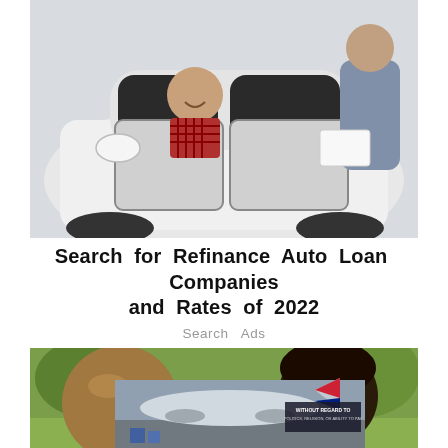[Figure (photo): A smiling man sitting inside a white car with the door open, another person standing outside handing him papers, shot outdoors at a car dealership]
Search for Refinance Auto Loan Companies and Rates of 2022
Search Ads
[Figure (photo): Composite image showing two people's faces against a green outdoor background, with an inset image of an airplane on a tarmac and overlay text reading 'WITHOUT REGARD TO POLITICS, RELIGION, OR ABILITY TO PAY']